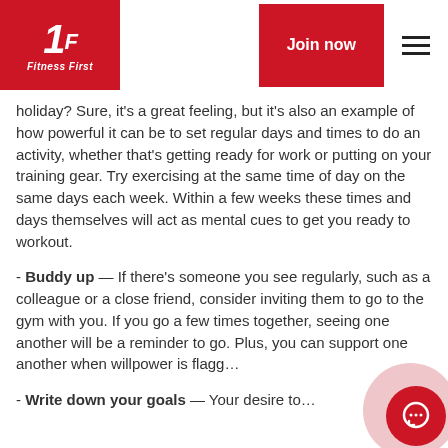Fitness First – Join now
holiday? Sure, it's a great feeling, but it's also an example of how powerful it can be to set regular days and times to do an activity, whether that's getting ready for work or putting on your training gear. Try exercising at the same time of day on the same days each week. Within a few weeks these times and days themselves will act as mental cues to get you ready to workout.
- Buddy up — If there's someone you see regularly, such as a colleague or a close friend, consider inviting them to go to the gym with you. If you go a few times together, seeing one another will be a reminder to go. Plus, you can support one another when willpower is flagg…
- Write down your goals — Your desire to…